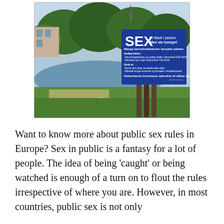[Figure (photo): Outdoor park scene with green trees, a lake, and a large blue sign on a post. The sign reads: SEX er tilladt i parken. Men vis hensyn! Mange børneinstitutioner benytter parken. Undlad derfor: -Gøs på legepladsen og synlige steder i tidsrummet 8:00-16:00 -Hold jeres sex i skjul i tidsrummet 7:00-16:30 Husk at: -Fjerne sant (saxe, fra bænke efter siden -Efterlade brugte kondomer og servietter i skraldespanden Københavns Kommune opfordrer til sikker sex!]
Want to know more about public sex rules in Europe? Sex in public is a fantasy for a lot of people. The idea of being 'caught' or being watched is enough of a turn on to flout the rules irrespective of where you are. However, in most countries, public sex is not only